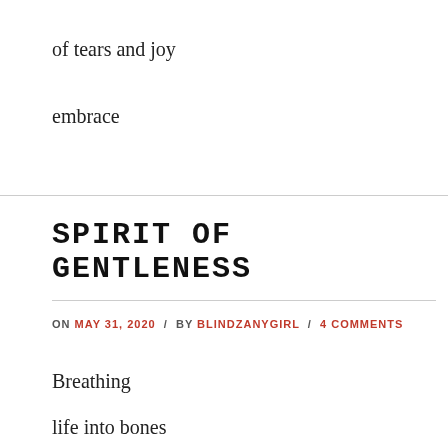of tears and joy
embrace
SPIRIT OF GENTLENESS
ON MAY 31, 2020 / BY BLINDZANYGIRL / 4 COMMENTS
Breathing
life into bones